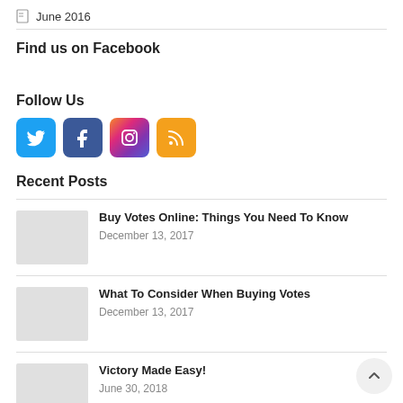June 2016
Find us on Facebook
Follow Us
[Figure (infographic): Four social media icon buttons: Twitter (blue bird icon), Facebook (blue F icon), Instagram (gradient camera icon), RSS (orange RSS icon)]
Recent Posts
Buy Votes Online: Things You Need To Know
December 13, 2017
What To Consider When Buying Votes
December 13, 2017
Victory Made Easy!
June 30, 2018